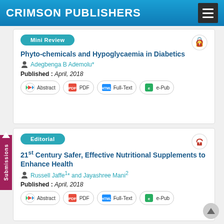CRIMSON PUBLISHERS
Mini Review
Phyto-chemicals and Hypoglycaemia in Diabetics
Adegbenga B Ademolu*
Published : April, 2018
Abstract | PDF | Full-Text | e-Pub
Editorial
21st Century Safer, Effective Nutritional Supplements to Enhance Health
Russell Jaffe1* and Jayashree Mani2
Published : April, 2018
Abstract | PDF | Full-Text | e-Pub